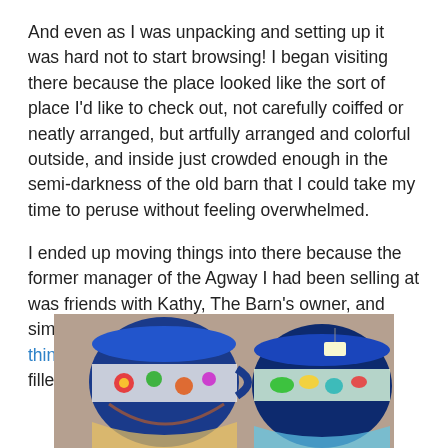And even as I was unpacking and setting up it was hard not to start browsing! I began visiting there because the place looked like the sort of place I'd like to check out, not carefully coiffed or neatly arranged, but artfully arranged and colorful outside, and inside just crowded enough in the semi-darkness of the old barn that I could take my time to peruse without feeling overwhelmed.
I ended up moving things into there because the former manager of the Agway I had been selling at was friends with Kathy, The Barn's owner, and simply went to her and said I'd be over with my things, she'd like them and me. Life should be filled with such friends.
[Figure (photo): Photo of colorful ceramic mugs or cups with decorative patterns in blue, green, and multicolor floral designs, viewed from above on a surface.]